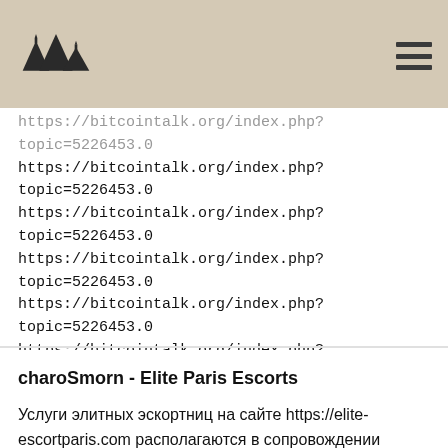[logo] [hamburger menu]
https://bitcointalk.org/index.php?topic=5226453.0
https://bitcointalk.org/index.php?topic=5226453.0
https://bitcointalk.org/index.php?topic=5226453.0
https://bitcointalk.org/index.php?topic=5226453.0
https://bitcointalk.org/index.php?topic=5226453.0
https://bitcointalk.org/index.php?topic=5226453.0
https://bitcointalk.org/index.php?topic=5226453.0
https://bitcointalk.org/index.php?topic=5226453.0
28. 10. 2020 13:06
Odpovědět
charoSmorn - Elite Paris Escorts
Услуги элитных эскортниц на сайте https://elite-escortparis.com располагаются в сопровождении действительно привлекательных фотографий и изображений. Девушки, предоставляющие услуги,